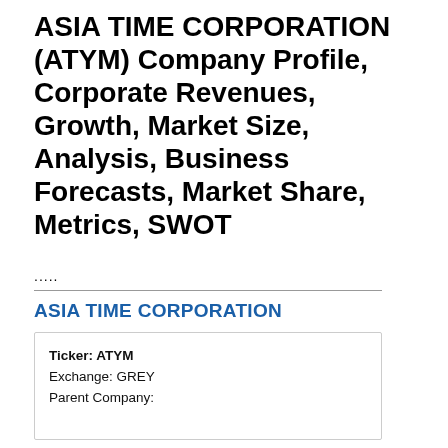ASIA TIME CORPORATION (ATYM) Company Profile, Corporate Revenues, Growth, Market Size, Analysis, Business Forecasts, Market Share, Metrics, SWOT
.....
ASIA TIME CORPORATION
| Ticker: | ATYM |
| Exchange: | GREY |
| Parent Company: |  |